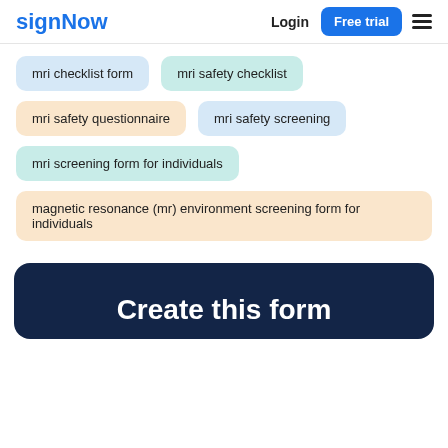signNow | Login | Free trial
mri checklist form
mri safety checklist
mri safety questionnaire
mri safety screening
mri screening form for individuals
magnetic resonance (mr) environment screening form for individuals
Create this form